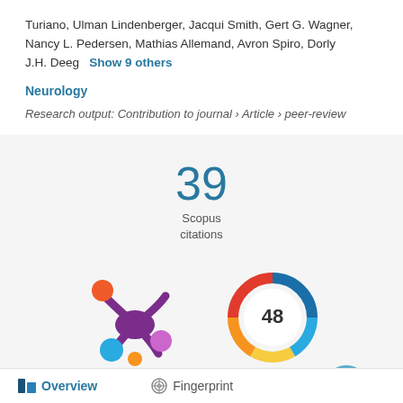Turiano, Ulman Lindenberger, Jacqui Smith, Gert G. Wagner, Nancy L. Pedersen, Mathias Allemand, Avron Spiro, Dorly J.H. Deeg  Show 9 others
Neurology
Research output: Contribution to journal › Article › peer-review
39
Scopus
citations
[Figure (logo): Altmetric colored splat logo icon]
[Figure (donut-chart): Altmetric score donut chart showing 48]
Overview   Fingerprint